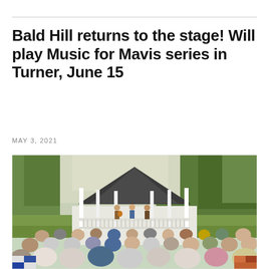Bald Hill returns to the stage! Will play Music for Mavis series in Turner, June 15
MAY 3, 2021
[Figure (photo): Outdoor concert at a white gazebo/bandstand in a park setting. Musicians perform on stage inside the gazebo while a large audience seated in chairs watches from the foreground. Trees visible in background, warm evening light.]